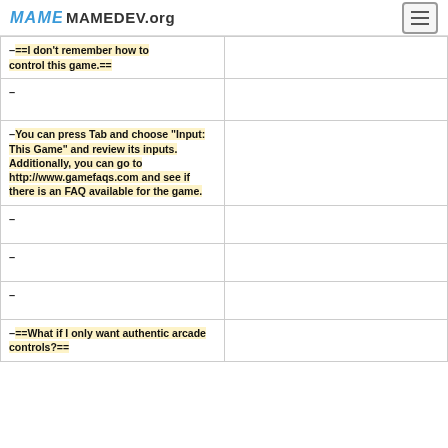MAME MAMEDEV.org
| –==I don't remember how to control this game.== |  |
| – |  |
| –You can press Tab and choose "Input: This Game" and review its inputs. Additionally, you can go to http://www.gamefaqs.com and see if there is an FAQ available for the game. |  |
| – |  |
| – |  |
| – |  |
| –==What if I only want authentic arcade controls?== |  |